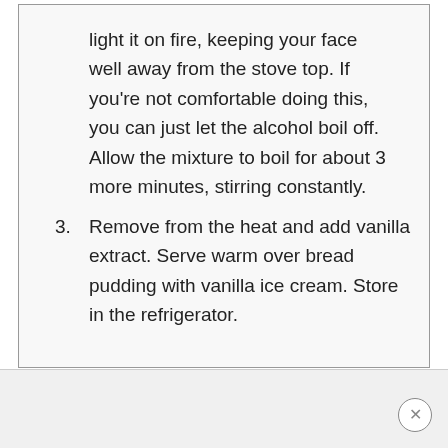light it on fire, keeping your face well away from the stove top.  If you're not comfortable doing this, you can just let the alcohol boil off.  Allow the mixture to boil for about 3 more minutes, stirring constantly.
3. Remove from the heat and add vanilla extract.  Serve warm over bread pudding with vanilla ice cream.  Store in the refrigerator.